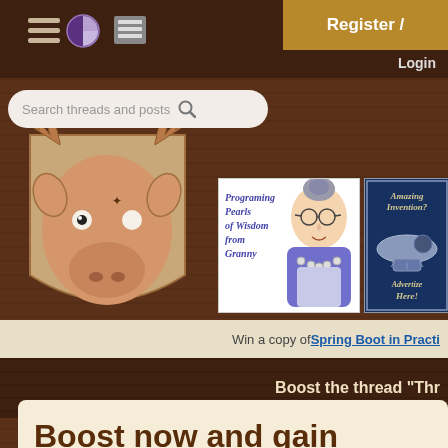Register / Login
Search threads and posts
[Figure (illustration): Cartoon moose head mounted on a shield-shaped plaque, drawn in a sketchy illustrative style with brown/orange tones]
[Figure (illustration): Advertisement: 'Programing Pearls of Wisdom from Granny' - cartoon illustration of an elderly woman with glasses and bun hairstyle wearing blue top with beaded necklace]
[Figure (advertisement): Advertisement with dark blue background: 'Amazing Invention? Advertize Here!' with steampunk airship/zeppelin illustration]
Win a copy of Spring Boot in Practi
Boost the thread "Thr
Boost now and gain more exposure!